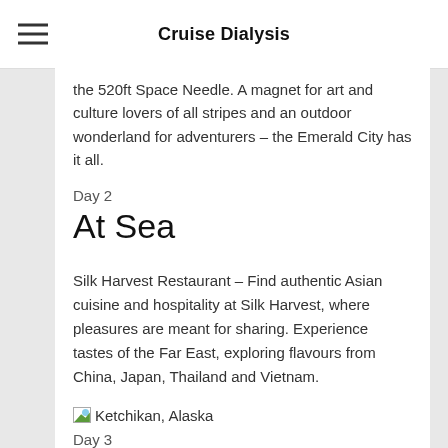Cruise Dialysis
the 520ft Space Needle. A magnet for art and culture lovers of all stripes and an outdoor wonderland for adventurers – the Emerald City has it all.
Day 2
At Sea
Silk Harvest Restaurant – Find authentic Asian cuisine and hospitality at Silk Harvest, where pleasures are meant for sharing. Experience tastes of the Far East, exploring flavours from China, Japan, Thailand and Vietnam.
[Figure (photo): Ketchikan, Alaska image placeholder]
Day 3
Ketchikan, Alaska